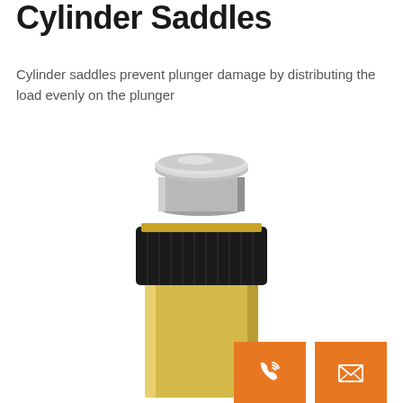Cylinder Saddles
Cylinder saddles prevent plunger damage by distributing the load evenly on the plunger
[Figure (photo): A hydraulic cylinder with a cylinder saddle mounted on top of the plunger. The cylinder body is yellow/gold colored, the saddle collar is black with knurling, and the saddle top is silver/chrome colored disc.]
[Figure (other): Two orange contact buttons: a phone/call icon and an envelope/email icon]